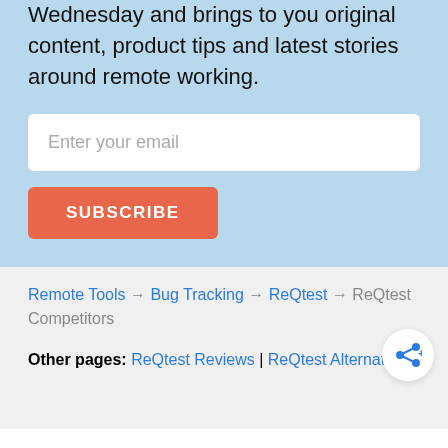The Remote Weekly goes out every Wednesday and brings to you original content, product tips and latest stories around remote working.
Enter your email
SUBSCRIBE
Remote Tools → Bug Tracking → ReQtest → ReQtest Competitors
Other pages: ReQtest Reviews | ReQtest Alternatives
Top 8 ReQtest competitors list - Bug Tracking | Remote